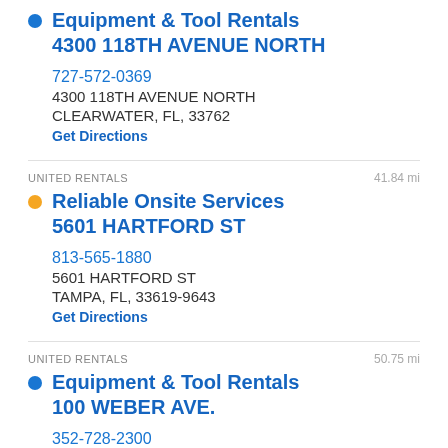Equipment & Tool Rentals
4300 118TH AVENUE NORTH
727-572-0369
4300 118TH AVENUE NORTH
CLEARWATER, FL, 33762
Get Directions
UNITED RENTALS
41.84 mi
Reliable Onsite Services
5601 HARTFORD ST
813-565-1880
5601 HARTFORD ST
TAMPA, FL, 33619-9643
Get Directions
UNITED RENTALS
50.75 mi
Equipment & Tool Rentals
100 WEBER AVE.
352-728-2300